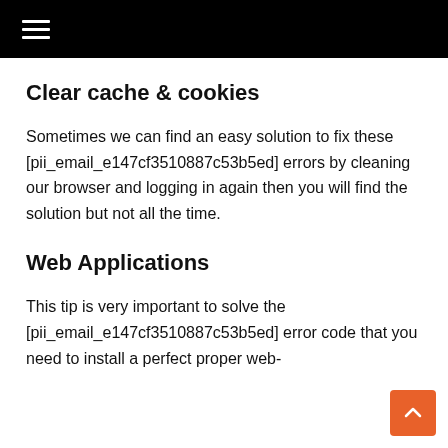≡
Clear cache & cookies
Sometimes we can find an easy solution to fix these [pii_email_e147cf3510887c53b5ed] errors by cleaning our browser and logging in again then you will find the solution but not all the time.
Web Applications
This tip is very important to solve the [pii_email_e147cf3510887c53b5ed] error code that you need to install a perfect proper web-